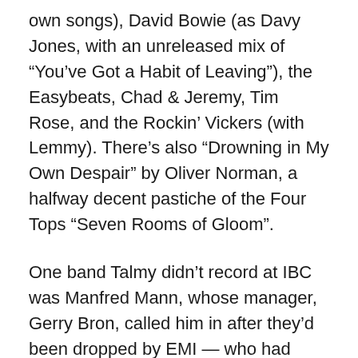own songs), David Bowie (as Davy Jones, with an unreleased mix of “You’ve Got a Habit of Leaving”), the Easybeats, Chad & Jeremy, Tim Rose, and the Rockin’ Vickers (with Lemmy). There’s also “Drowning in My Own Despair” by Oliver Norman, a halfway decent pastiche of the Four Tops “Seven Rooms of Gloom”.
One band Talmy didn’t record at IBC was Manfred Mann, whose manager, Gerry Bron, called him in after they’d been dropped by EMI — who had given the departing Paul Jones a solo contract — and signed with Philips/Fontana. He made two singles (“Just Like a Woman” and “Semi-Detached Suburban Mr James”) and one album with the band and their new singer, Mike D’Abo, at the Philips studios on the corner of Bayswater Road and Stanhope Place. Wondering what it was like to work with Talmy, and what made him special, I emailed D’Abo and Tom